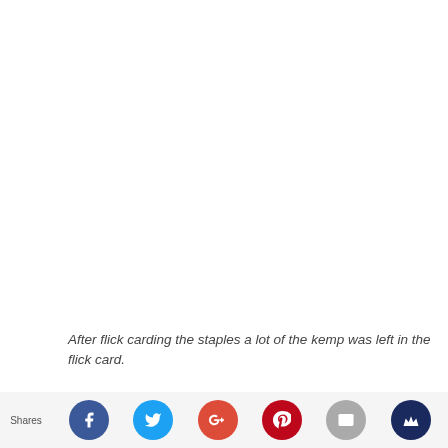After flick carding the staples a lot of the kemp was left in the flick card.
This means that the kemp alone had been shorn. If you look at the picture above whe all the staples in length